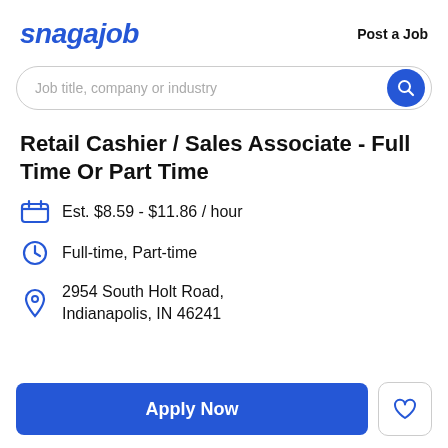snagajob
Post a Job
Job title, company or industry
Retail Cashier / Sales Associate - Full Time Or Part Time
Est. $8.59 - $11.86 / hour
Full-time, Part-time
2954 South Holt Road, Indianapolis, IN 46241
Apply Now